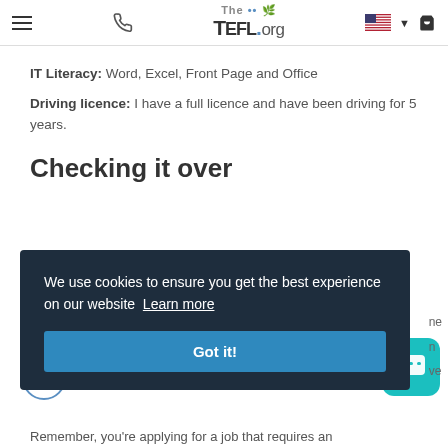The TEFL.org — navigation header with hamburger menu, phone icon, logo, flag selector, and cart
IT Literacy: Word, Excel, Front Page and Office
Driving licence: I have a full licence and have been driving for 5 years.
Checking it over
We use cookies to ensure you get the best experience on our website Learn more
Got it!
Remember, you're applying for a job that requires an